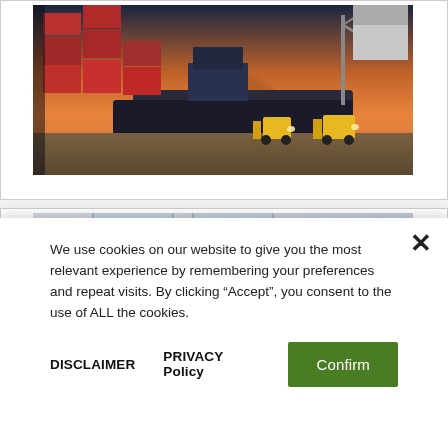[Figure (photo): Shipping port scene at sunset with stacked red cargo containers, a large cargo ship, and yellow forklifts on the dock]
[Figure (photo): Worker in a blue hard hat partially visible, photographed in an industrial or warehouse setting]
We use cookies on our website to give you the most relevant experience by remembering your preferences and repeat visits. By clicking “Accept”, you consent to the use of ALL the cookies.
DISCLAIMER    PRIVACY Policy    Confirm